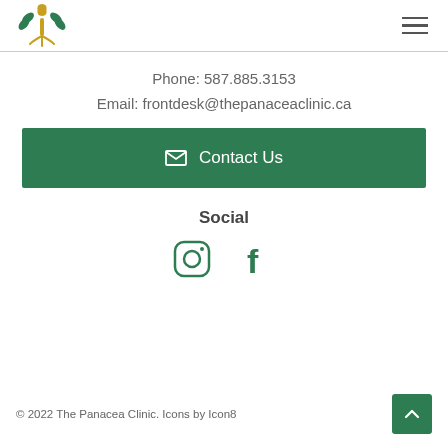The Panacea Clinic logo and navigation menu
Phone: 587.885.3153
Email: frontdesk@thepanaceaclinic.ca
✉ Contact Us
Social
[Figure (logo): Instagram and Facebook social media icons in green outline style]
© 2022 The Panacea Clinic. Icons by Icon8